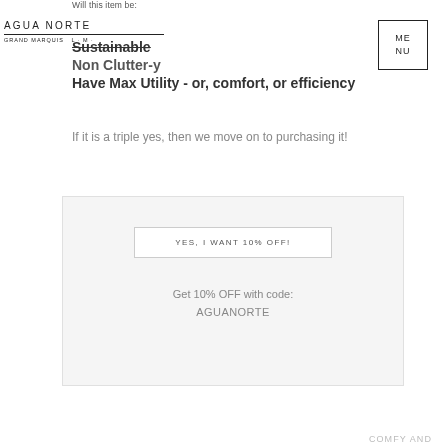Will this item be:
[Figure (logo): Agua Norte Grand Marquis logo with horizontal rule and subtitle text]
[Figure (other): Menu navigation box with text ME NU]
Sustainable
Non Clutter-y
Have Max Utility - or, comfort, or efficiency
If it is a triple yes, then we move on to purchasing it!
YES, I WANT 10% OFF!

Get 10% OFF with code:
AGUANORTE
COMFY AND